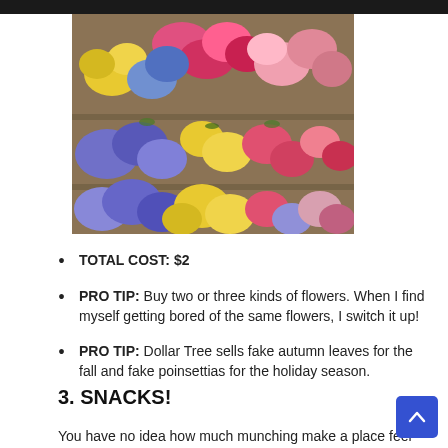[Figure (photo): Photo of colorful artificial flowers arranged on display shelves in a store, including yellow, pink, blue/purple, and red flowers]
TOTAL COST: $2
PRO TIP: Buy two or three kinds of flowers. When I find myself getting bored of the same flowers, I switch it up!
PRO TIP: Dollar Tree sells fake autumn leaves for the fall and fake poinsettias for the holiday season.
3. SNACKS!
You have no idea how much munching make a place feel